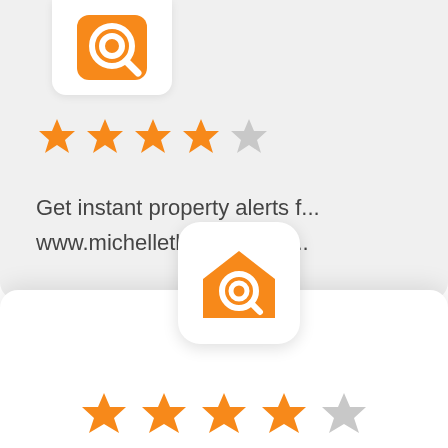[Figure (screenshot): Mobile app screenshot showing a property alert app icon (orange house with magnifying glass), 4-star rating, text 'Get instant property alerts for www.michellethomasteam.com', an orange CTA button 'Get the MoveTo App', and a 'Not Now' link.]
Get instant property alerts for www.michellethomasteam.com
Get the MoveTo App
Not Now